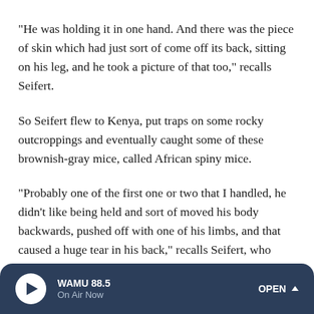"He was holding it in one hand. And there was the piece of skin which had just sort of come off its back, sitting on his leg, and he took a picture of that too," recalls Seifert.
So Seifert flew to Kenya, put traps on some rocky outcroppings and eventually caught some of these brownish-gray mice, called African spiny mice.
"Probably one of the first one or two that I handled, he didn't like being held and sort of moved his body backwards, pushed off with one of his limbs, and that caused a huge tear in his back," recalls Seifert, who realized that the mice really did have incredibly weak skin that tore easily.
WAMU 88.5 · On Air Now · OPEN